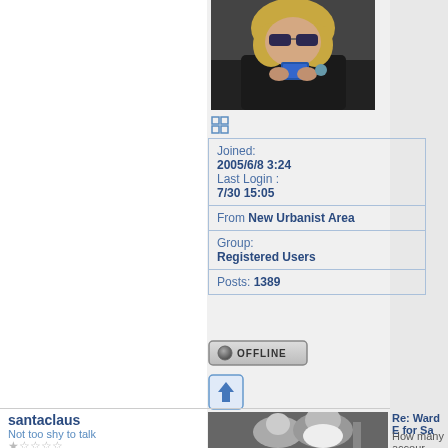[Figure (photo): Woman with sunglasses looking at a smartphone, seated in a vehicle]
⊞ (expand icon)
| Joined:
2005/6/8 3:24
Last Login :
7/30 15:05 |
| From New Urbanist Area |
| Group:
Registered Users |
| Posts: 1389 |
[Figure (other): OFFLINE button with grey circle icon]
[Figure (other): Blue upload/arrow icon]
santaclaus
Not too shy to talk
★☆☆☆☆
[Figure (photo): Black and white photo of Santa Claus with a child]
Re: Ward E for Sa
How many accour